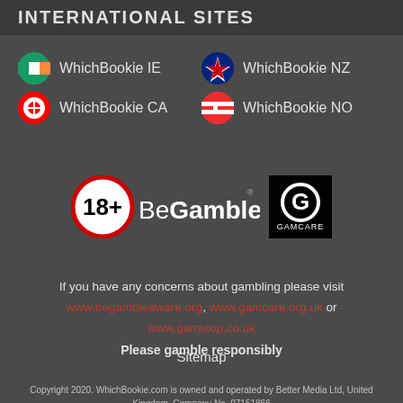INTERNATIONAL SITES
WhichBookie IE
WhichBookie NZ
WhichBookie CA
WhichBookie NO
[Figure (logo): BeGambleAware.org logo with 18+ circle and GamCare logo]
If you have any concerns about gambling please visit www.begambleaware.org, www.gamcare.org.uk or www.gamstop.co.uk Please gamble responsibly
Sitemap
Copyright 2020. WhichBookie.com is owned and operated by Better Media Ltd, United Kingdom, Company No. 07151866